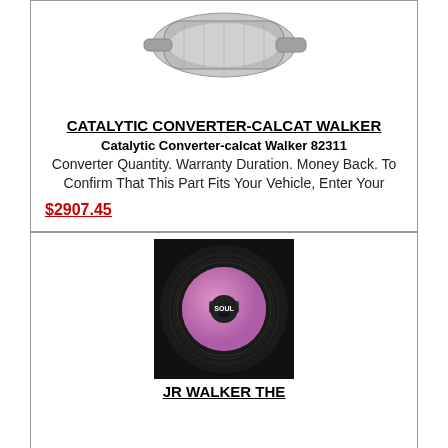[Figure (photo): Catalytic converter product photo, metallic silver part on white background]
CATALYTIC CONVERTER-CALCAT WALKER
Catalytic Converter-calcat Walker 82311
Converter Quantity. Warranty Duration. Money Back. To Confirm That This Part Fits Your Vehicle, Enter Your
$2907.45
[Figure (photo): Vinyl record with pink/purple label showing SOUL logo, on dark background]
JR WALKER THE